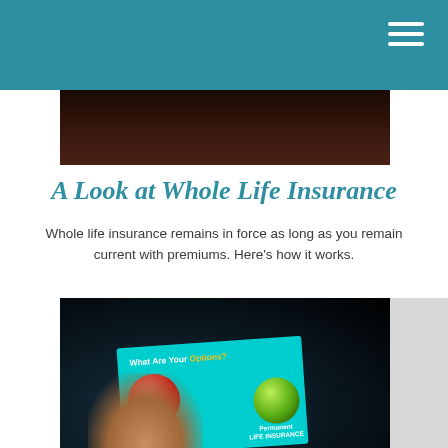[Figure (photo): Top portion of a dark reddish photo, partially visible, showing a small illuminated red object against a dark background]
A Look at Whole Life Insurance
Whole life insurance remains in force as long as you remain current with premiums. Here's how it works.
[Figure (photo): A person's hand touching a tablet screen in a dark room. The tablet displays 'What Are Your Options?' with images of a red apple and a green apple, and text reading 'Permanent Life Insurance']